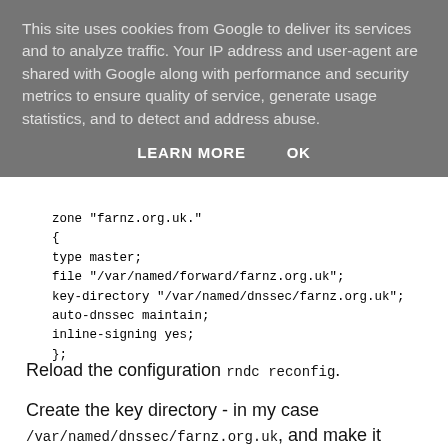This site uses cookies from Google to deliver its services and to analyze traffic. Your IP address and user-agent are shared with Google along with performance and security metrics to ensure quality of service, generate usage statistics, and to detect and address abuse.
LEARN MORE   OK
zone "farnz.org.uk."
{
type master;
file "/var/named/forward/farnz.org.uk";
key-directory "/var/named/dnssec/farnz.org.uk";
auto-dnssec maintain;
inline-signing yes;
};
Reload the configuration rndc reconfig.
Create the key directory - in my case /var/named/dnssec/farnz.org.uk, and make it accessible to named. You will put keys in here, which will cause BIND to take your existing unsigned zone and maintain a signed copy